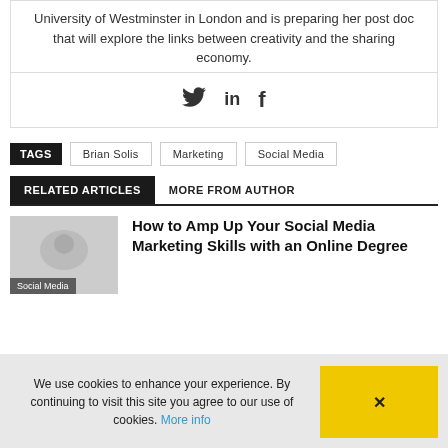University of Westminster in London and is preparing her post doc that will explore the links between creativity and the sharing economy.
[Figure (illustration): Social media share icons: Twitter bird, LinkedIn 'in', Facebook 'f']
TAGS  Brian Solis  Marketing  Social Media
RELATED ARTICLES  MORE FROM AUTHOR
[Figure (photo): Thumbnail image for article about social media marketing, with 'Social Media' label overlay]
How to Amp Up Your Social Media Marketing Skills with an Online Degree
We use cookies to enhance your experience. By continuing to visit this site you agree to our use of cookies. More info